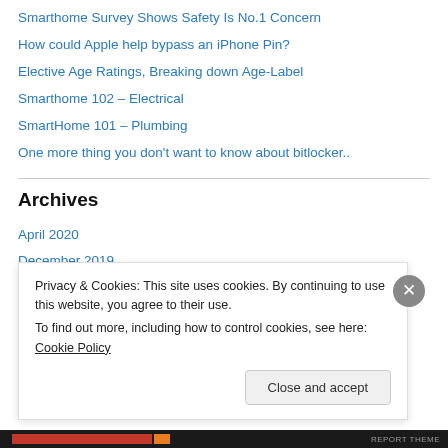Smarthome Survey Shows Safety Is No.1 Concern
How could Apple help bypass an iPhone Pin?
Elective Age Ratings, Breaking down Age-Label
Smarthome 102 – Electrical
SmartHome 101 – Plumbing
One more thing you don't want to know about bitlocker..
Archives
April 2020
December 2019
May 2018
Privacy & Cookies: This site uses cookies. By continuing to use this website, you agree to their use. To find out more, including how to control cookies, see here: Cookie Policy